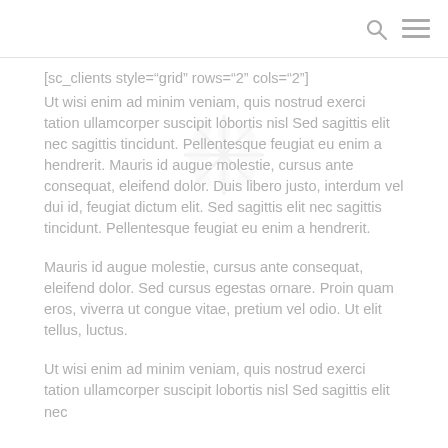[search icon] [menu icon]
[sc_clients style="grid" rows="2" cols="2"]
Ut wisi enim ad minim veniam, quis nostrud exerci tation ullamcorper suscipit lobortis nisl Sed sagittis elit nec sagittis tincidunt. Pellentesque feugiat eu enim a hendrerit. Mauris id augue molestie, cursus ante consequat, eleifend dolor. Duis libero justo, interdum vel dui id, feugiat dictum elit. Sed sagittis elit nec sagittis tincidunt. Pellentesque feugiat eu enim a hendrerit.
Mauris id augue molestie, cursus ante consequat, eleifend dolor. Sed cursus egestas ornare. Proin quam eros, viverra ut congue vitae, pretium vel odio. Ut elit tellus, luctus.
Ut wisi enim ad minim veniam, quis nostrud exerci tation ullamcorper suscipit lobortis nisl Sed sagittis elit nec